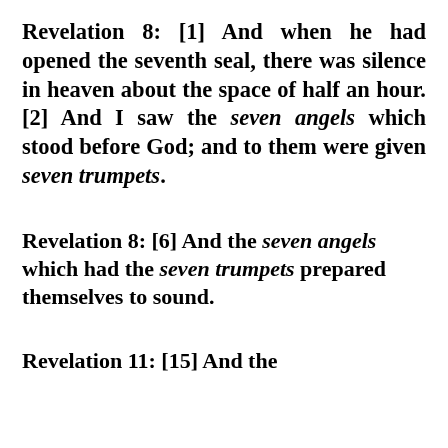Revelation 8: [1] And when he had opened the seventh seal, there was silence in heaven about the space of half an hour. [2] And I saw the seven angels which stood before God; and to them were given seven trumpets.
Revelation 8: [6] And the seven angels which had the seven trumpets prepared themselves to sound.
Revelation 11: [15] And the